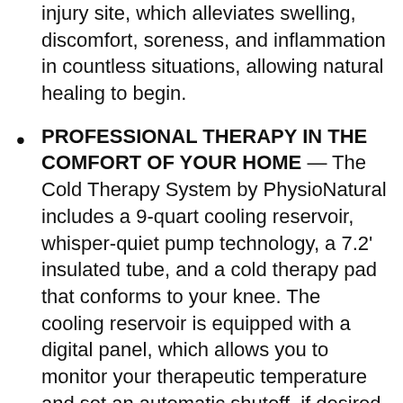injury site, which alleviates swelling, discomfort, soreness, and inflammation in countless situations, allowing natural healing to begin.
PROFESSIONAL THERAPY IN THE COMFORT OF YOUR HOME — The Cold Therapy System by PhysioNatural includes a 9-quart cooling reservoir, whisper-quiet pump technology, a 7.2' insulated tube, and a cold therapy pad that conforms to your knee. The cooling reservoir is equipped with a digital panel, which allows you to monitor your therapeutic temperature and set an automatic shutoff, if desired, for 20, 40, or 60 minutes. Simply add ice and water to the cooler and enjoy effective relief.